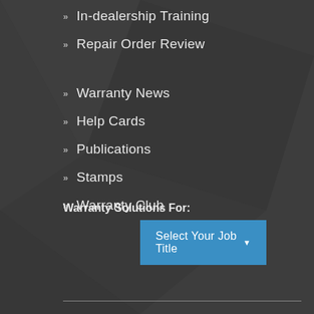In-dealership Training
Repair Order Review
Warranty News
Help Cards
Publications
Stamps
Warranty Club
Warranty Solutions For:
Select Your Job Title